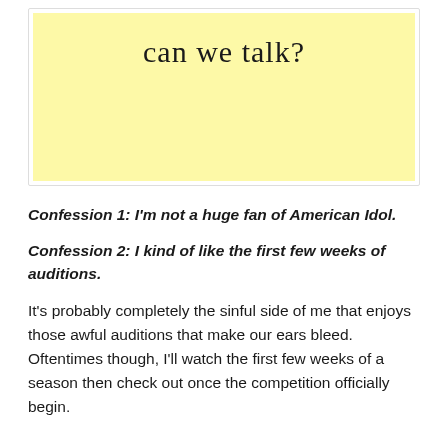[Figure (illustration): Yellow sticky note with handwritten text 'can we talk?' in cursive script]
Confession 1: I'm not a huge fan of American Idol.
Confession 2: I kind of like the first few weeks of auditions.
It's probably completely the sinful side of me that enjoys those awful auditions that make our ears bleed. Oftentimes though, I'll watch the first few weeks of a season then check out once the competition officially begin.